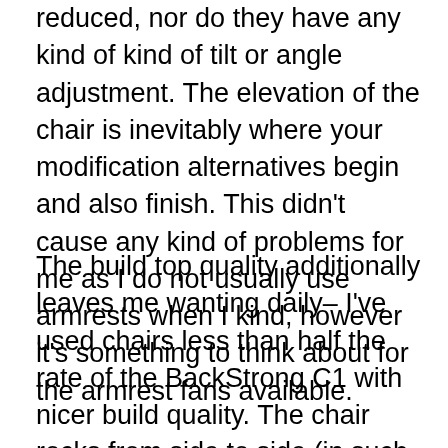reduced, nor do they have any kind of kind of tilt or angle adjustment. The elevation of the chair is inevitably where your modification alternatives begin and also finish. This didn't cause any kind of problems for me as I do not usually use armrests when I kind, however it's something to think about for the armrest fans available.
The build top quality additionally leaves me wanting daily– I've used chairs less than half the rate of the BackStrong C1 with nicer build quality. The chair rocks from side to side (in such a way that it shouldn't), making the base feel less-than-stable. The left arm is additionally loosened, so it moves up regarding an inch extremely easily– the right is a lot more planted and takes a little